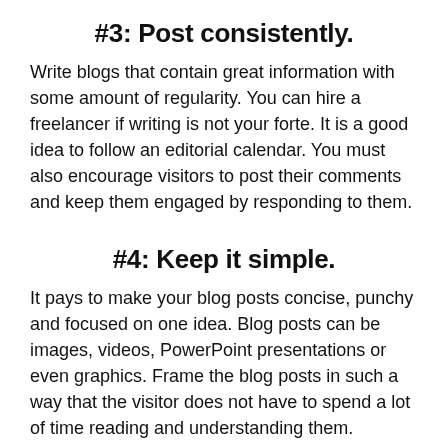#3: Post consistently.
Write blogs that contain great information with some amount of regularity. You can hire a freelancer if writing is not your forte. It is a good idea to follow an editorial calendar. You must also encourage visitors to post their comments and keep them engaged by responding to them.
#4: Keep it simple.
It pays to make your blog posts concise, punchy and focused on one idea. Blog posts can be images, videos, PowerPoint presentations or even graphics. Frame the blog posts in such a way that the visitor does not have to spend a lot of time reading and understanding them.